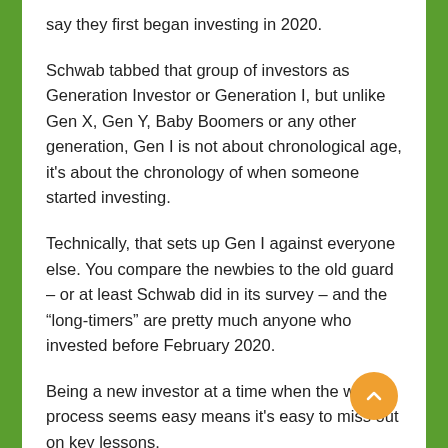say they first began investing in 2020.
Schwab tabbed that group of investors as Generation Investor or Generation I, but unlike Gen X, Gen Y, Baby Boomers or any other generation, Gen I is not about chronological age, it's about the chronology of when someone started investing.
Technically, that sets up Gen I against everyone else. You compare the newbies to the old guard – or at least Schwab did in its survey – and the “long-timers” are pretty much anyone who invested before February 2020.
Being a new investor at a time when the whole process seems easy means it's easy to miss out on key lessons.